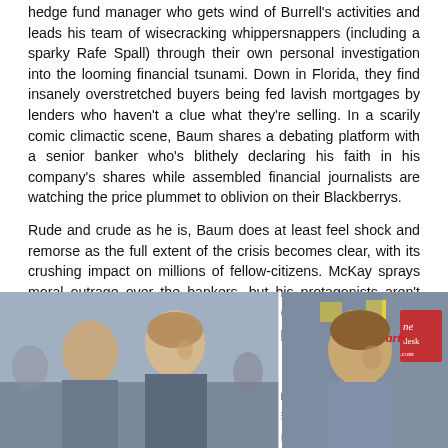hedge fund manager who gets wind of Burrell's activities and leads his team of wisecracking whippersnappers (including a sparky Rafe Spall) through their own personal investigation into the looming financial tsunami. Down in Florida, they find insanely overstretched buyers being fed lavish mortgages by lenders who haven't a clue what they're selling. In a scarily comic climactic scene, Baum shares a debating platform with a senior banker who's blithely declaring his faith in his company's shares while assembled financial journalists are watching the price plummet to oblivion on their Blackberrys.

Rude and crude as he is, Baum does at least feel shock and remorse as the full extent of the crisis becomes clear, with its crushing impact on millions of fellow-citizens. McKay sprays moral outrage over the bankers, but his protagonists aren't much better as they rejoice in being clever enough to create a personal jackpot out of this collective purgatory. Particularly smarmy is Jared Vennett, played by Ryan Gosling like a weasel dipped in Brylcreem, and the most eminently punchable banker on Wall Street (Gosling and Carell pictured below). McKay also uses him as narrator, letting him break the fourth wall with asides to the audience ("yes, this meeting really did happen").
[Figure (photo): Two-panel photo showing actors from The Big Short. Left panel: two men in suits, one seen from behind and another facing sideways. Right panel: a man in a grey suit looking to the left with a partial arts desk watermark visible.]